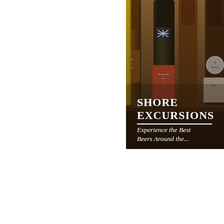[Figure (photo): Photo of multiple beer bottles (Belgian/craft beers) arranged together, with labels including 'Drugle Microbrouwery' and 'Bernardus' and 'Dubuisson' visible. The right half of the image is shown, cropped at the right edge. Overlaid on the lower portion of the photo are the words 'SHORE EXCURSIONS' in large bold white serif text, a white horizontal rule, and below it 'Experience the Best Beers Around the...' in italic white serif text.]
SHORE EXCURSIONS
Experience the Best Beers Around the...